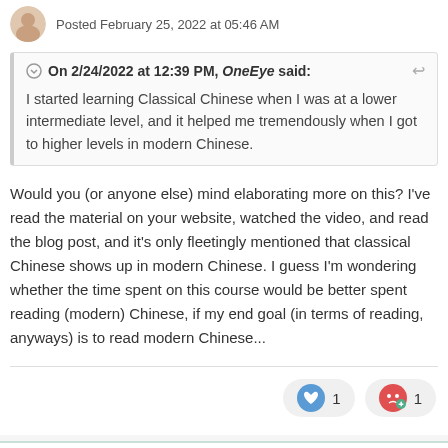Posted February 25, 2022 at 05:46 AM
On 2/24/2022 at 12:39 PM, OneEye said:
I started learning Classical Chinese when I was at a lower intermediate level, and it helped me tremendously when I got to higher levels in modern Chinese.
Would you (or anyone else) mind elaborating more on this? I've read the material on your website, watched the video, and read the blog post, and it's only fleetingly mentioned that classical Chinese shows up in modern Chinese. I guess I'm wondering whether the time spent on this course would be better spent reading (modern) Chinese, if my end goal (in terms of reading, anyways) is to read modern Chinese...
Popular Post
Publius
Posted February 25, 2022 at 08:26 AM